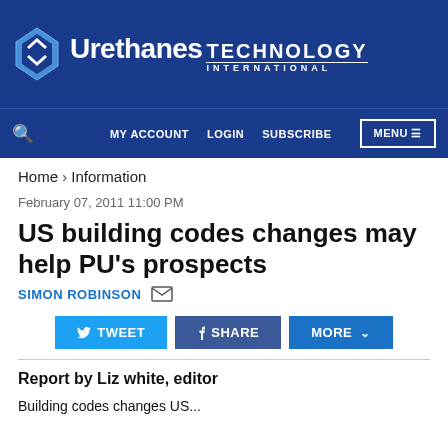Urethanes Technology International
Home > Information
February 07, 2011 11:00 PM
US building codes changes may help PU's prospects
SIMON ROBINSON
TWEET   SHARE   MORE
Report by Liz white, editor
Building codes changes US...